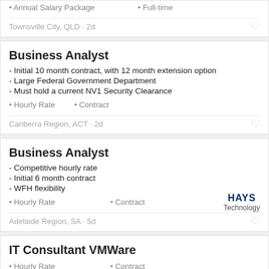• Annual Salary Package  • Full-time
Townsville City, QLD · 2d
Business Analyst
- Initial 10 month contract, with 12 month extension option
- Large Federal Government Department
- Must hold a current NV1 Security Clearance
• Hourly Rate  • Contract
Canberra Region, ACT · 2d
Business Analyst
- Competitive hourly rate
- Initial 6 month contract
- WFH flexibility
• Hourly Rate  • Contract
Adelaide Region, SA · 5d
IT Consultant VMWare
• Hourly Rate  • Contract